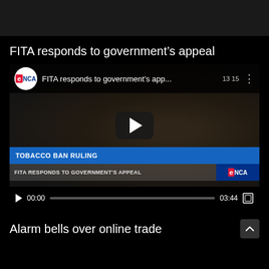[Figure (screenshot): Dark top navigation bar area, black background]
FITA responds to government’s appeal
[Figure (screenshot): eNCA news video player showing a man being interviewed about TOBACCO BAN RULING. Video title: FITA responds to government's app... Duration shown as 13:15 in corner and 03:44 in controls. Playback position at 00:00. Lower chyron reads FITA RESPONDS TO GOVERNMENT'S APPEAL with eNCA logo.]
Alarm bells over online trade